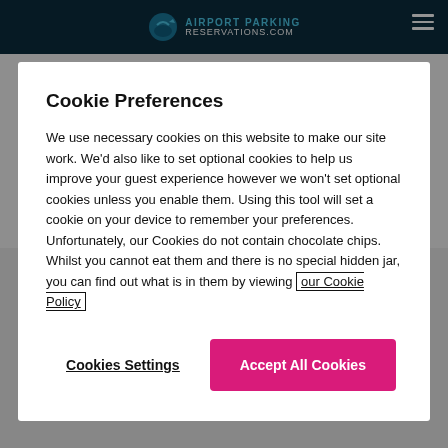AIRPORT PARKING RESERVATIONS.COM
Cookie Preferences
We use necessary cookies on this website to make our site work. We'd also like to set optional cookies to help us improve your guest experience however we won't set optional cookies unless you enable them. Using this tool will set a cookie on your device to remember your preferences. Unfortunately, our Cookies do not contain chocolate chips. Whilst you cannot eat them and there is no special hidden jar, you can find out what is in them by viewing our Cookie Policy
Cookies Settings
Accept All Cookies
ADDRESS
17801 International Boulevard, Seattle, WA, 98158
PHONE
(206) 787-3000